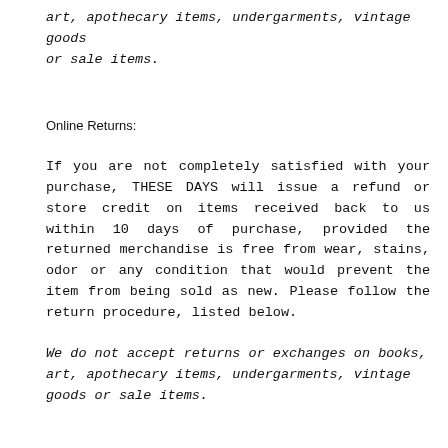art, apothecary items, undergarments, vintage goods or sale items.
Online Returns:
If you are not completely satisfied with your purchase, THESE DAYS will issue a refund or store credit on items received back to us within 10 days of purchase, provided the returned merchandise is free from wear, stains, odor or any condition that would prevent the item from being sold as new. Please follow the return procedure, listed below.
We do not accept returns or exchanges on books, art, apothecary items, undergarments, vintage goods or sale items.
Return Procedure: